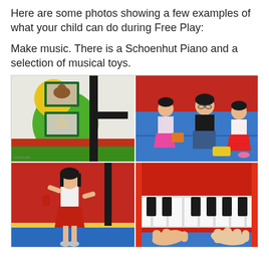Here are some photos showing a few examples of what your child can do during Free Play:
Make music. There is a Schoenhut Piano and a selection of musical toys.
[Figure (photo): A collage of four photos showing children doing musical activities in a colorful play space. Top-left: a colorful wall with green circles and framed animal pictures. Bottom-left: a young girl in a white top and red skirt dancing or playing with an instrument. Top-right: a teacher and two children sitting on a blue mat playing with musical toys. Bottom-right: close-up of a red Schoenhut toy piano keyboard with a child's hands playing it.]